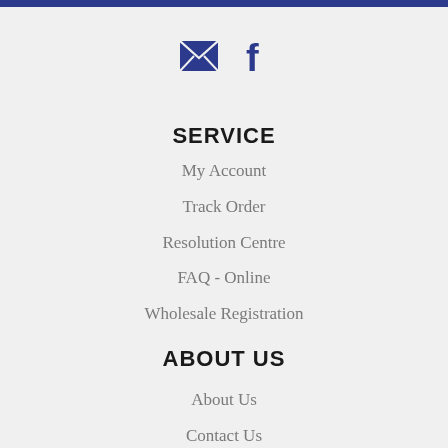[Figure (illustration): Email envelope icon and Facebook 'f' icon, both in dark navy blue, centered horizontally]
SERVICE
My Account
Track Order
Resolution Centre
FAQ - Online
Wholesale Registration
ABOUT US
About Us
Contact Us
Articles
INFORMATION